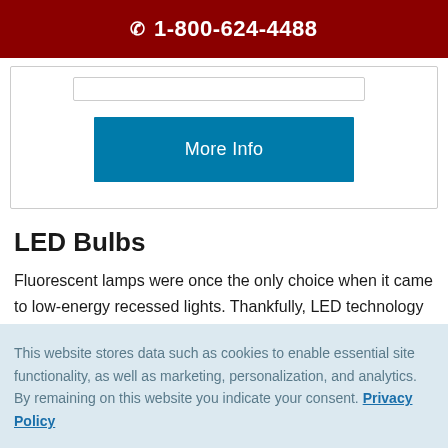1-800-624-4488
[Figure (screenshot): A teal/cyan 'More Info' button inside a white card with a search bar placeholder at the top]
LED Bulbs
Fluorescent lamps were once the only choice when it came to low-energy recessed lights. Thankfully, LED technology has drastically changed the lighting landscape. LED tubes
This website stores data such as cookies to enable essential site functionality, as well as marketing, personalization, and analytics. By remaining on this website you indicate your consent. Privacy Policy